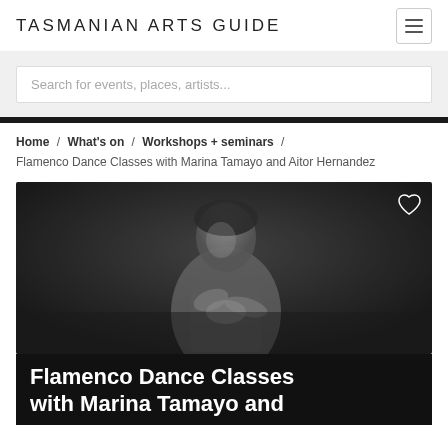TASMANIAN ARTS GUIDE
Search for events, places, artists...
Home / What's on / Workshops + seminars / Flamenco Dance Classes with Marina Tamayo and Aitor Hernandez
[Figure (photo): Black and white photo of a male flamenco dancer performing, bent forward with hands near chest, intense expression, dark background]
Flamenco Dance Classes with Marina Tamayo and